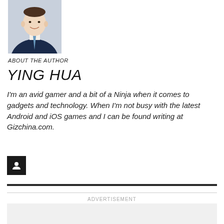[Figure (photo): Headshot of a man in a navy suit and light blue tie, smiling, against a white background]
ABOUT THE AUTHOR
YING HUA
I'm an avid gamer and a bit of a Ninja when it comes to gadgets and technology. When I'm not busy with the latest Android and iOS games and I can be found writing at Gizchina.com.
[Figure (illustration): Small black square icon with a user/person silhouette]
ADVERTISEMENT